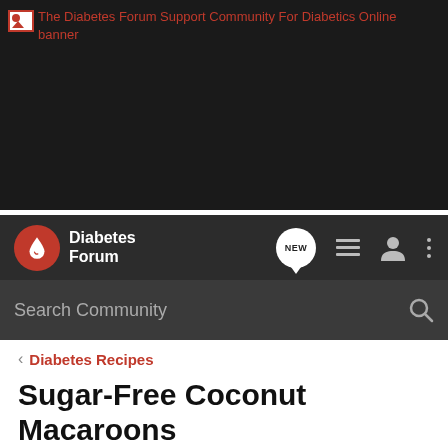[Figure (screenshot): Broken image banner placeholder for Diabetes Forum Support Community website]
The Diabetes Forum Support Community For Diabetics Online banner
[Figure (logo): Diabetes Forum logo with red circle and drop icon, NEW bubble, list icon, user icon, more icon]
Search Community
< Diabetes Recipes
Sugar-Free Coconut Macaroons
→ Jump to Latest
⊕ Follow
1 - 11 of 11 Posts
d33na · Registered
Joined May 24, 2011 · 741 Posts